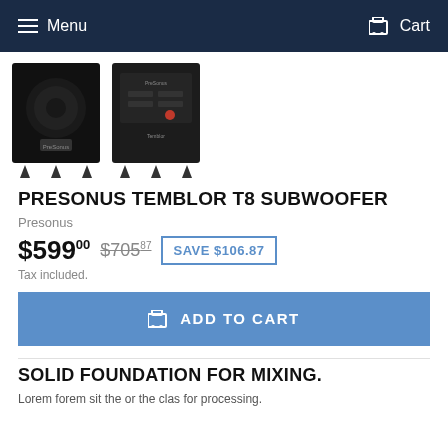Menu   Cart
[Figure (photo): Two product images of the PreSonus Temblor T8 Subwoofer — front view (left) and rear panel view (right), both black units with spike feet]
PRESONUS TEMBLOR T8 SUBWOOFER
Presonus
$599.00  $705.87  SAVE $106.87
Tax included.
ADD TO CART
SOLID FOUNDATION FOR MIXING.
Lorem ipsum dolor sit amet, consectetur adipiscing, for processing...